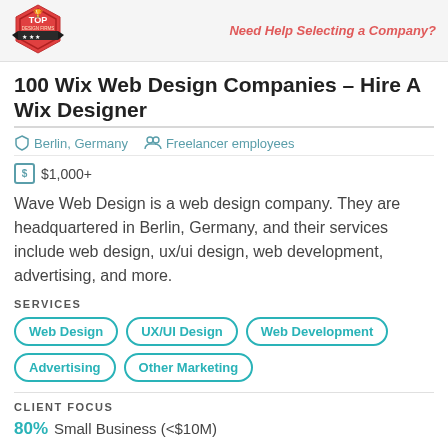Top Design Firms | Need Help Selecting a Company?
100 Wix Web Design Companies – Hire A Wix Designer
Berlin, Germany   Freelancer employees
$1,000+
Wave Web Design is a web design company. They are headquartered in Berlin, Germany, and their services include web design, ux/ui design, web development, advertising, and more.
SERVICES
Web Design
UX/UI Design
Web Development
Advertising
Other Marketing
CLIENT FOCUS
80% Small Business (<$10M)